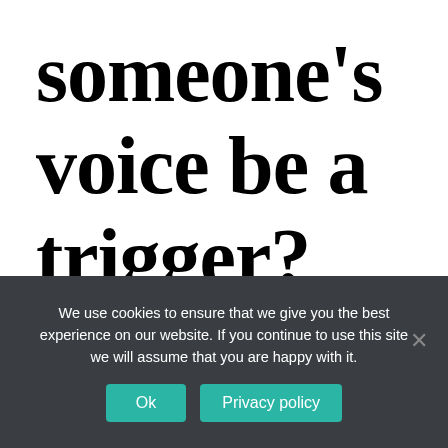someone's voice be a trigger?
We use cookies to ensure that we give you the best experience on our website. If you continue to use this site we will assume that you are happy with it.